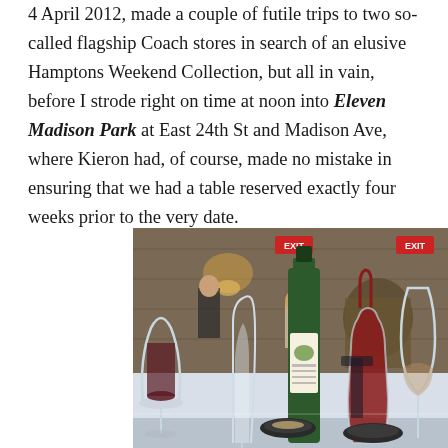4 April 2012, made a couple of futile trips to two so-called flagship Coach stores in search of an elusive Hamptons Weekend Collection, but all in vain, before I strode right on time at noon into Eleven Madison Park at East 24th St and Madison Ave, where Kieron had, of course, made no mistake in ensuring that we had a table reserved exactly four weeks prior to the very date.
[Figure (photo): Interior photo of Eleven Madison Park restaurant showing wine glasses, a green wine bottle, a glass decanter with red wine, and small dark dishes on a white tablecloth. In the background are diners and wooden architectural details with EXIT signs.]